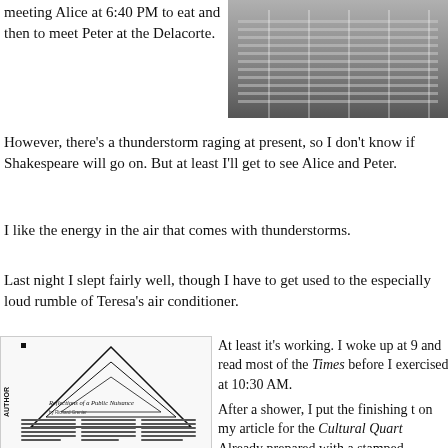meeting Alice at 6:40 PM to eat and then to meet Peter at the Delacorte.
[Figure (photo): Aerial/overhead photo of a large assembly or gathering, likely the United Nations General Assembly hall, with many people seated in rows.]
However, there's a thunderstorm raging at present, so I don't know if Shakespeare will go on. But at least I'll get to see Alice and Peter.
I like the energy in the air that comes with thunderstorms.
Last night I slept fairly well, though I have to get used to the especially loud rumble of Teresa's air conditioner.
[Figure (photo): Thumbnail image of a magazine or journal article page titled 'Reflections of a Public Nuisance' with geometric triangle designs and dense text columns. Labeled 'AUTHOR' on the side.]
At least it's working. I woke up at 9 and read most of the Times before I exercised at 10:30 AM.
After a shower, I put the finishing touches on my article for the Cultural Quarterly. Already prepared with a stamped, addressed envelope, I mailed it rig